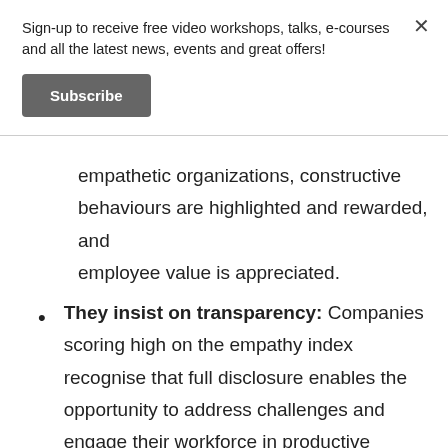Sign-up to receive free video workshops, talks, e-courses and all the latest news, events and great offers!
Subscribe
empathetic organizations, constructive behaviours are highlighted and rewarded, and employee value is appreciated.
They insist on transparency: Companies scoring high on the empathy index recognise that full disclosure enables the opportunity to address challenges and engage their workforce in productive solutions-focused processes.